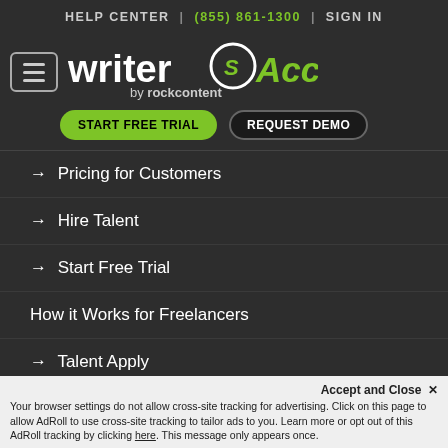HELP CENTER | (855) 861-1300 | SIGN IN
[Figure (logo): WriterAccess by rockcontent logo — white 'writer' text with green cursive 'Access' and circular S icon]
START FREE TRIAL
REQUEST DEMO
→ Pricing for Customers
→ Hire Talent
→ Start Free Trial
How it Works for Freelancers
→ Talent Apply
Accept and Close ✕
Your browser settings do not allow cross-site tracking for advertising. Click on this page to allow AdRoll to use cross-site tracking to tailor ads to you. Learn more or opt out of this AdRoll tracking by clicking here. This message only appears once.
631 Beacon Street Suite 144